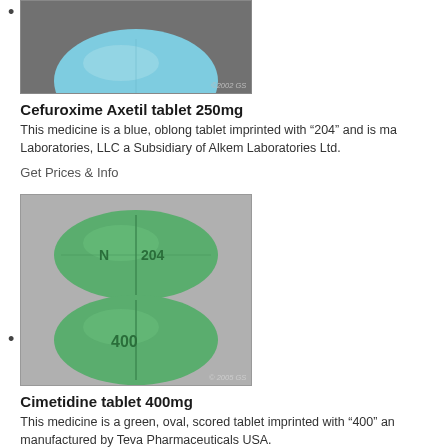[Figure (photo): Blue oblong tablet (Cefuroxime Axetil 250mg) photographed against dark grey background, watermark © 2002 GS]
Cefuroxime Axetil tablet 250mg
This medicine is a blue, oblong tablet imprinted with "204" and is ma...
Laboratories, LLC a Subsidiary of Alkem Laboratories Ltd.
Get Prices & Info
[Figure (photo): Green oval scored tablets (Cimetidine 400mg) — two views showing imprints 'N 204' and '400', grey background, watermark © 2005 GS]
Cimetidine tablet 400mg
This medicine is a green, oval, scored tablet imprinted with "400" an...
manufactured by Teva Pharmaceuticals USA.